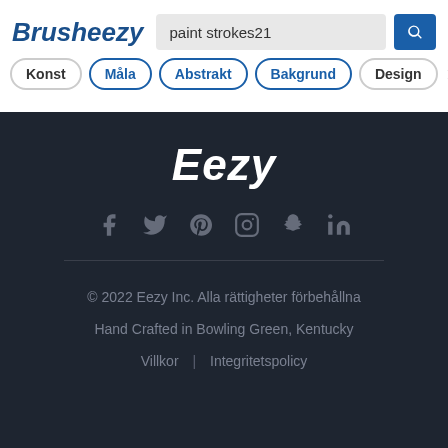Brusheezy
paint strokes21
Konst
Måla
Abstrakt
Bakgrund
Design
Eezy
© 2022 Eezy Inc. Alla rättigheter förbehållna
Hand Crafted in Bowling Green, Kentucky
Villkor | Integritetspolicy